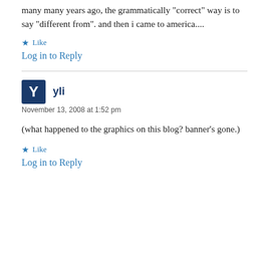many many years ago, the grammatically “correct” way is to say “different from”. and then i came to america....
★ Like
Log in to Reply
yli
November 13, 2008 at 1:52 pm
(what happened to the graphics on this blog? banner’s gone.)
★ Like
Log in to Reply